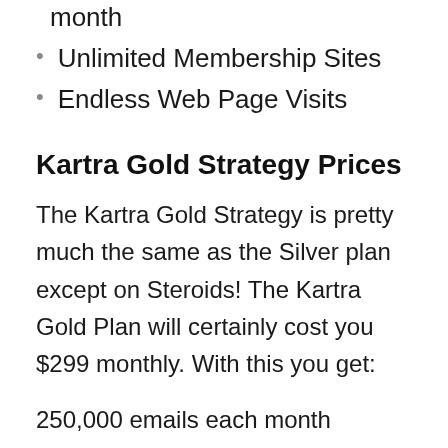month
Unlimited Membership Sites
Endless Web Page Visits
Kartra Gold Strategy Prices
The Kartra Gold Strategy is pretty much the same as the Silver plan except on Steroids! The Kartra Gold Plan will certainly cost you $299 monthly. With this you get:
250,000 emails each month
Approximately 25,000 get in touches with